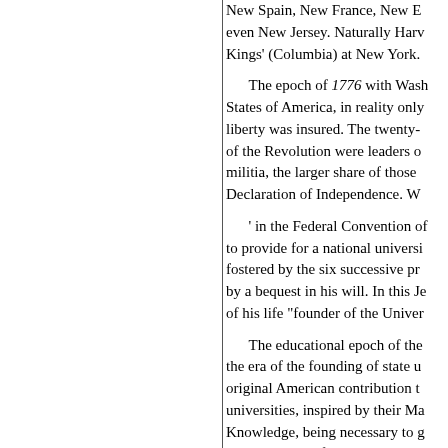New Spain, New France, New E... even New Jersey. Naturally Harv... Kings' (Columbia) at New York.
The epoch of 1776 with Wash... States of America, in reality only... liberty was insured. The twenty-... of the Revolution were leaders o... militia, the larger share of those... Declaration of Independence. W...
' in the Federal Convention of... to provide for a national universi... fostered by the six successive pr... by a bequest in his will. In this Je... of his life "founder of the Univer...
The educational epoch of the... the era of the founding of state u... original American contribution t... universities, inspired by their Ma... Knowledge, being necessary to g... education shall forever be encou... systems, crowned by the state un...
*C. F. Thwing, Higher Educ...